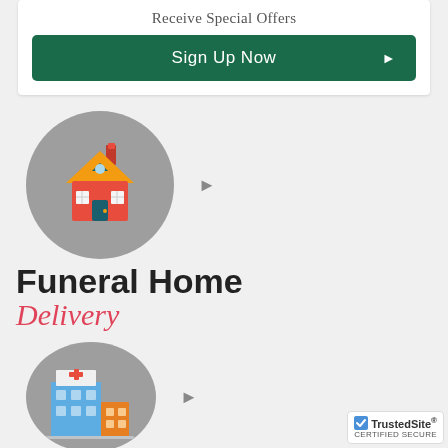Receive Special Offers
Sign Up Now ▶
[Figure (illustration): Flat-design illustration of a house/home icon (yellow roof, red walls, teal door) centered on a grey circle, representing Funeral Home Delivery]
Funeral Home Delivery
[Figure (illustration): Flat-design illustration of a hospital/medical building (blue, with red cross and medical cross sign) on a grey circle]
[Figure (logo): TrustedSite CERTIFIED SECURE badge in bottom right corner]